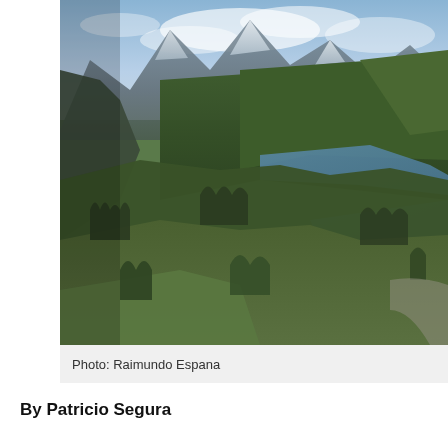[Figure (photo): Aerial landscape photograph showing forested hills, a winding blue lake or river, and snow-capped mountains in the background under a partly cloudy sky. Dense vegetation covers rolling hills in the foreground and middle ground.]
Photo: Raimundo Espana
By Patricio Segura